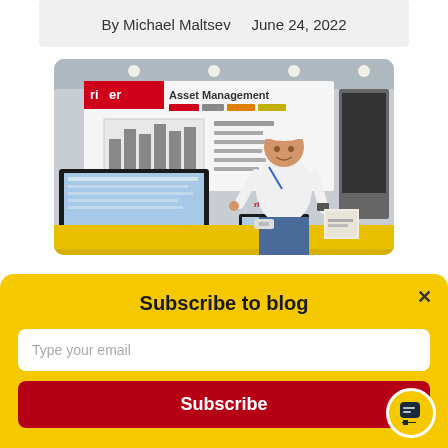By Michael Maltsev    June 24, 2022
[Figure (photo): Man standing at a trade show booth for 'riger Asset Management', pointing at a computer monitor displaying software, with a laptop on the table and a yellow tablecloth]
Subscribe to blog
Type your email
Subscribe